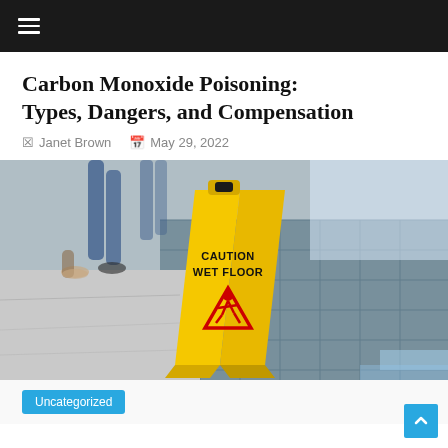≡
Carbon Monoxide Poisoning: Types, Dangers, and Compensation
Janet Brown   May 29, 2022
[Figure (photo): Yellow caution wet floor sign on tiled floor with blurred people walking in background]
Uncategorized